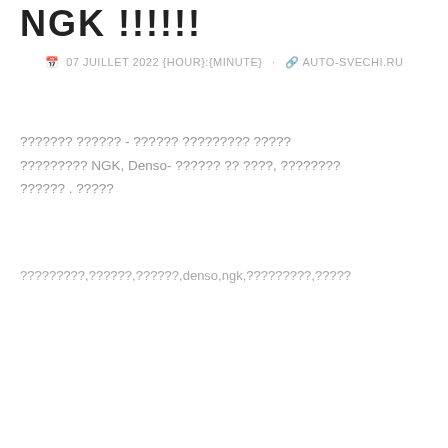NGK !!!!!!
07 JUILLET 2022 {HOUR}:{MINUTE} · AUTO-SVECHI.RU
??????? ?????? - ?????? ????????? ????? ????????? NGK, Denso- ?????? ?? ????, ???????? ?????? . ?????
?????????,??????,??????,denso,ngk,?????????,?????